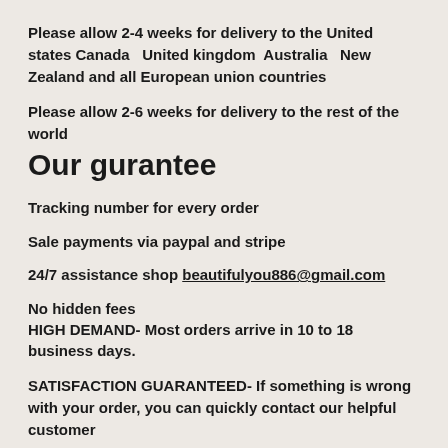Please allow 2-4 weeks for delivery to the United states Canada   United kingdom  Australia   New Zealand and all European union countries
Please allow 2-6 weeks for delivery to the rest of the world
Our gurantee
Tracking number for every order
Sale payments via paypal and stripe
24/7 assistance shop beautifulyou886@gmail.com
No hidden fees
HIGH DEMAND- Most orders arrive in 10 to 18 business days.
SATISFACTION GUARANTEED- If something is wrong with your order, you can quickly contact our helpful customer